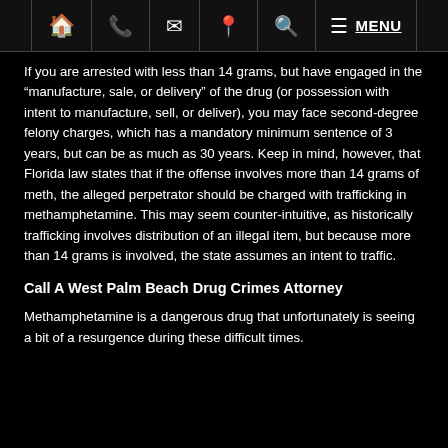Navigation bar with home, phone, mail, location, search, and MENU icons
If you are arrested with less than 14 grams, but have engaged in the “manufacture, sale, or delivery” of the drug (or possession with intent to manufacture, sell, or deliver), you may face second-degree felony charges, which has a mandatory minimum sentence of 3 years, but can be as much as 30 years. Keep in mind, however, that Florida law states that if the offense involves more than 14 grams of meth, the alleged perpetrator should be charged with trafficking in methamphetamine. This may seem counter-intuitive, as historically trafficking involves distribution of an illegal item, but because more than 14 grams is involved, the state assumes an intent to traffic.
Call A West Palm Beach Drug Crimes Attorney
Methamphetamine is a dangerous drug that unfortunately is seeing a bit of a resurgence during these difficult times.